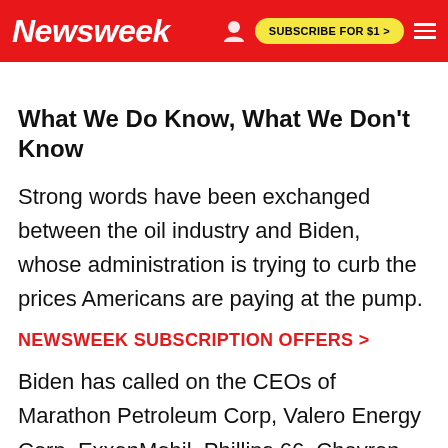Newsweek | SUBSCRIBE FOR $1 >
What We Do Know, What We Don't Know
Strong words have been exchanged between the oil industry and Biden, whose administration is trying to curb the prices Americans are paying at the pump.
NEWSWEEK SUBSCRIPTION OFFERS >
Biden has called on the CEOs of Marathon Petroleum Corp, Valero Energy Corp, ExxonMobil, Phillips 66, Chevron, BP and